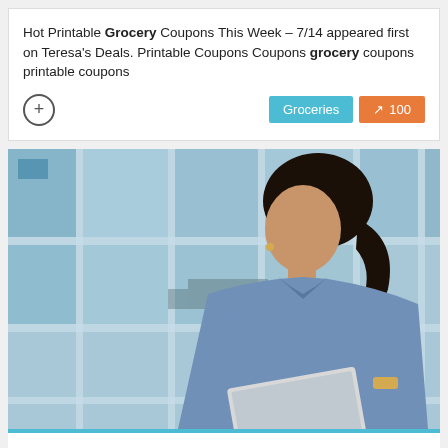Hot Printable Grocery Coupons This Week – 7/14 appeared first on Teresa's Deals. Printable Coupons Coupons grocery coupons printable coupons
[Figure (photo): Woman in blue shirt holding a tablet, standing in front of a glass-paneled building]